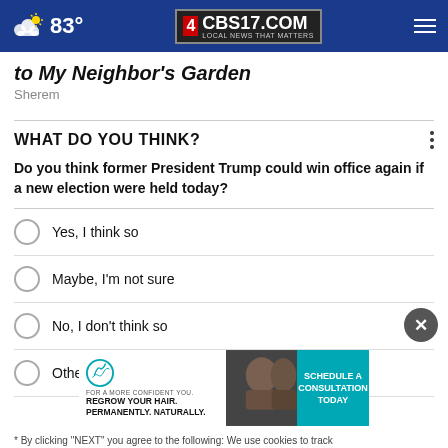83° CBS17.COM LOCAL NEWS THAT MATTERS
to My Neighbor's Garden
Sherem
WHAT DO YOU THINK?
Do you think former President Trump could win office again if a new election were held today?
Yes, I think so
Maybe, I'm not sure
No, I don't think so
Other / No opinion
[Figure (other): Advertisement banner: For a more confident you. Regrow your hair. Permanently. Naturally. Schedule a Consultation Today.]
* By clicking "NEXT" you agree to the following: We use cookies to track